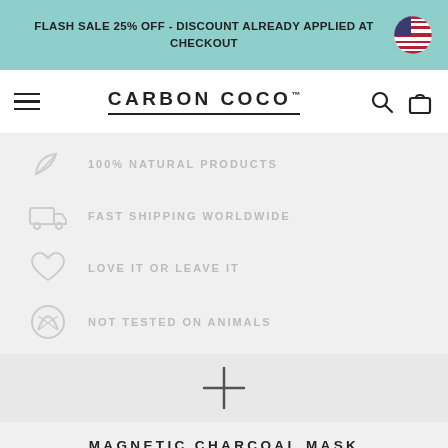FLASH SALE 25% OFF - DISCOUNT ALREADY APPLIED AT CHECKOUT
CARBON COCO™
100% NATURAL PRODUCTS
FAST SHIPPING WORLDWIDE
LOVE IT OR LEAVE IT
NOT TESTED ON ANIMALS
[Figure (other): Plus sign separator]
MAGNETIC CHARCOAL MASK